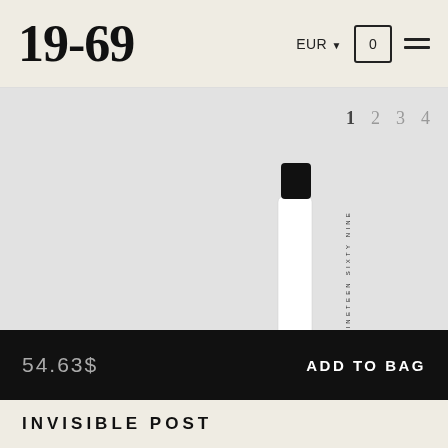19-69
[Figure (photo): A slim roll-on perfume bottle with a black cap and white label reading 'NINETEEN SIXTY NINE' vertically, with light green/yellow liquid at base, on a light gray background.]
1  2  3  4
54.63$
ADD TO BAG
INVISIBLE POST